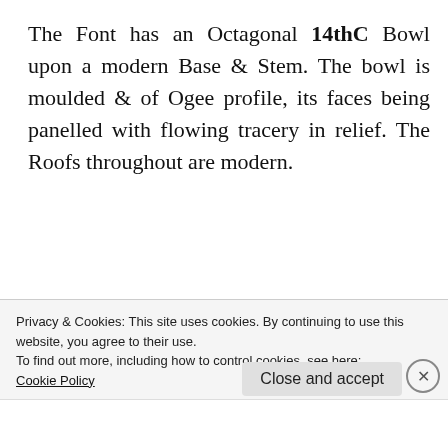The Font has an Octagonal 14thC Bowl upon a modern Base & Stem. The bowl is moulded & of Ogee profile, its faces being panelled with flowing tracery in relief. The Roofs throughout are modern.
[Figure (illustration): Heraldic shield illustration showing three birds (martlets/doves) on branches in the upper portion, and a crescent moon symbol in the lower portion, all within a rectangular border.]
In a recess in the Aisle is a handsome black & white marble Monument to Bridget Croke 1638
Privacy & Cookies: This site uses cookies. By continuing to use this website, you agree to their use.
To find out more, including how to control cookies, see here:
Cookie Policy
Close and accept